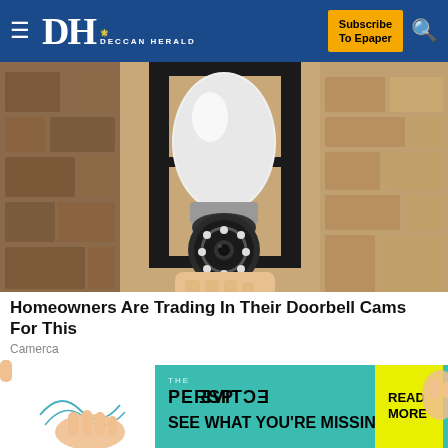DH DECCAN HERALD — Subscribe To Epaper
[Figure (photo): A bulb-socket security camera being installed into an outdoor lantern fixture mounted on a stone/brick wall. The camera resembles a light bulb with a circular lens and LED ring.]
Homeowners Are Trading In Their Doorbell Cams For This
Camerca
[Figure (photo): Advertisement banner for 'The Perspective' publication showing illustrated hands and the text 'SEE WHAT YOU'RE MISSING' with a yellow 'READ MORE' button.]